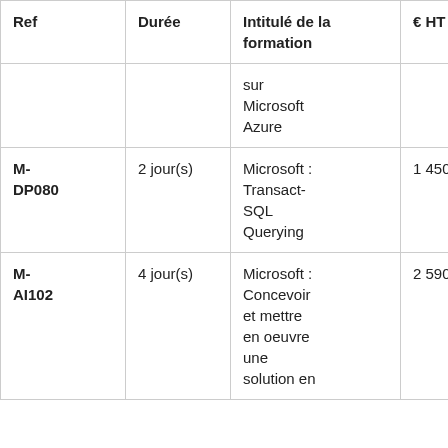| Ref | Durée | Intitulé de la formation | € HT | Au |
| --- | --- | --- | --- | --- |
|  |  | sur Microsoft Azure |  |  |
| M-DP080 | 2 jour(s) | Microsoft : Transact-SQL Querying | 1 450€ |  |
| M-AI102 | 4 jour(s) | Microsoft : Concevoir et mettre en oeuvre une solution en | 2 590€ |  |